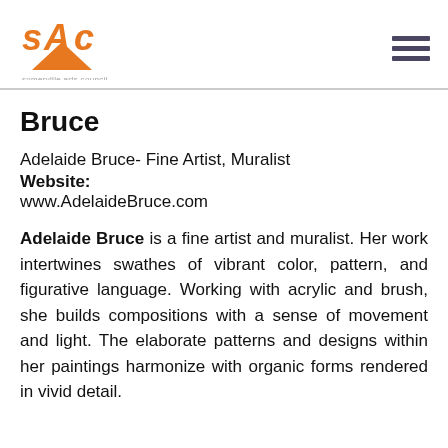[Figure (logo): Somerville Arts Council logo - orange stylized SAC letters above a triangle shape, with text 'somerville arts council' below]
Bruce
Adelaide Bruce- Fine Artist, Muralist
Website:
www.AdelaideBruce.com
Adelaide Bruce is a fine artist and muralist. Her work intertwines swathes of vibrant color, pattern, and figurative language. Working with acrylic and brush, she builds compositions with a sense of movement and light. The elaborate patterns and designs within her paintings harmonize with organic forms rendered in vivid detail.